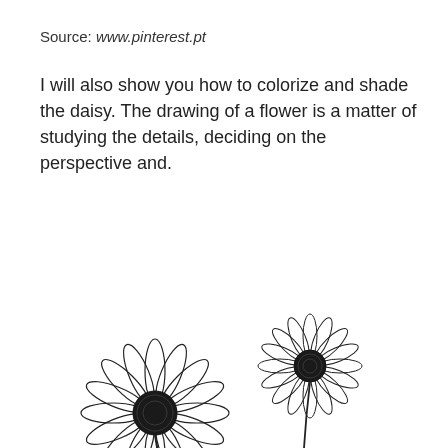Source: www.pinterest.pt
I will also show you how to colorize and shade the daisy. The drawing of a flower is a matter of studying the details, deciding on the perspective and.
[Figure (illustration): Two hand-drawn daisy/sunflower illustrations in black and white line art. One larger flower at bottom-left, one smaller flower at center-right on a stem.]